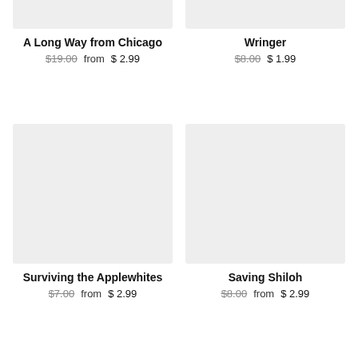[Figure (illustration): Gray book cover placeholder, top portion only visible]
A Long Way from Chicago
$19.00  from $ 2.99
[Figure (illustration): Gray book cover placeholder, top portion only visible]
Wringer
$8.00  $ 1.99
[Figure (illustration): Gray book cover placeholder, full cover visible]
Surviving the Applewhites
$7.00  from $ 2.99
[Figure (illustration): Gray book cover placeholder, full cover visible]
Saving Shiloh
$8.00  from $ 2.99